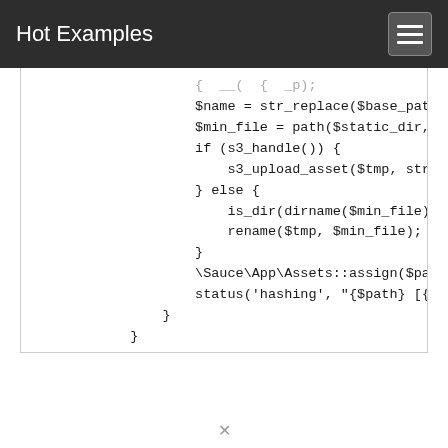Hot Examples
[Figure (screenshot): Code snippet showing PHP code with str_replace, path, s3_handle, s3_upload_asset, is_dir, rename, Sauce\App\Assets::assign, and status function calls inside nested braces.]